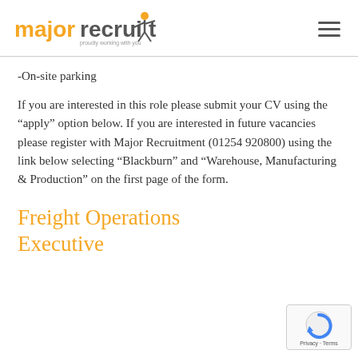major recruitment - proudly working with you
-On-site parking
If you are interested in this role please submit your CV using the “apply” option below. If you are interested in future vacancies please register with Major Recruitment (01254 920800) using the link below selecting “Blackburn” and “Warehouse, Manufacturing & Production” on the first page of the form.
Freight Operations Executive